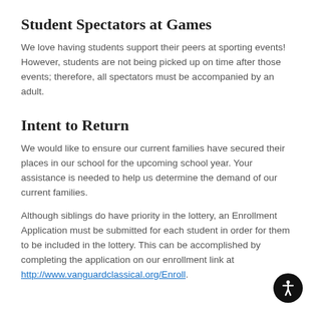Student Spectators at Games
We love having students support their peers at sporting events! However, students are not being picked up on time after those events; therefore, all spectators must be accompanied by an adult.
Intent to Return
We would like to ensure our current families have secured their places in our school for the upcoming school year. Your assistance is needed to help us determine the demand of our current families.
Although siblings do have priority in the lottery, an Enrollment Application must be submitted for each student in order for them to be included in the lottery. This can be accomplished by completing the application on our enrollment link at http://www.vanguardclassical.org/Enroll.